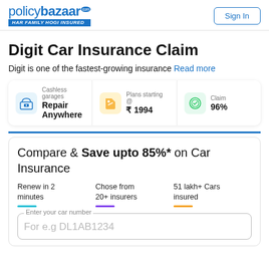policybazaar HAR FAMILY HOGI INSURED | Sign In
Digit Car Insurance Claim
Digit is one of the fastest-growing insurance Read more
Cashless garages Repair Anywhere | Plans starting @ ₹ 1994 | Claim 96%
Compare & Save upto 85%* on Car Insurance
Renew in 2 minutes | Chose from 20+ insurers | 51 lakh+ Cars insured
Enter your car number — For e.g DL1AB1234